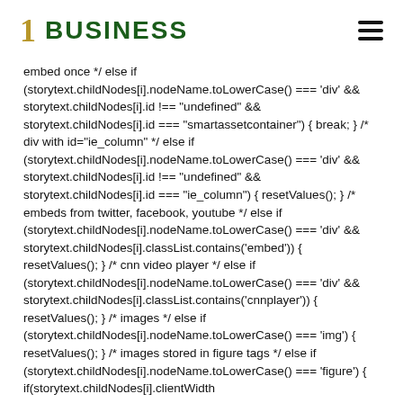1 BUSINESS
embed once */ else if (storytext.childNodes[i].nodeName.toLowerCase() === 'div' && storytext.childNodes[i].id !== "undefined" && storytext.childNodes[i].id === "smartassetcontainer") { break; } /* div with id="ie_column" */ else if (storytext.childNodes[i].nodeName.toLowerCase() === 'div' && storytext.childNodes[i].id !== "undefined" && storytext.childNodes[i].id === "ie_column") { resetValues(); } /* embeds from twitter, facebook, youtube */ else if (storytext.childNodes[i].nodeName.toLowerCase() === 'div' && storytext.childNodes[i].classList.contains('embed')) { resetValues(); } /* cnn video player */ else if (storytext.childNodes[i].nodeName.toLowerCase() === 'div' && storytext.childNodes[i].classList.contains('cnnplayer')) { resetValues(); } /* images */ else if (storytext.childNodes[i].nodeName.toLowerCase() === 'img') { resetValues(); } /* images stored in figure tags */ else if (storytext.childNodes[i].nodeName.toLowerCase() === 'figure') { if(storytext.childNodes[i].clientWidth
On Tuesday, shares in cruise operators dropped as the storm gathered strength. Royal Caribbean Cruises (RCL) lost 4%, while Carnival Corp